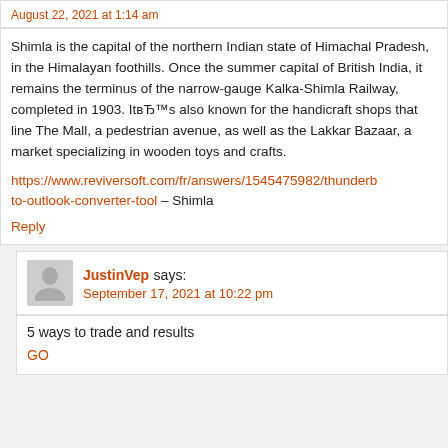August 22, 2021 at 1:14 am
Shimla is the capital of the northern Indian state of Himachal Pradesh, in the Himalayan foothills. Once the summer capital of British India, it remains the terminus of the narrow-gauge Kalka-Shimla Railway, completed in 1903. ItвЂ™s also known for the handicraft shops that line The Mall, a pedestrian avenue, as well as the Lakkar Bazaar, a market specializing in wooden toys and crafts.
https://www.reviversoft.com/fr/answers/1545475982/thunderb to-outlook-converter-tool – Shimla
Reply
JustinVep says:
September 17, 2021 at 10:22 pm
5 ways to trade and results
GO